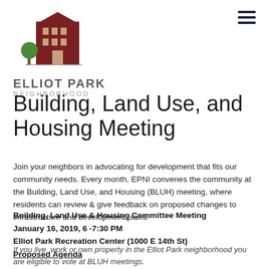[Figure (logo): Elliot Park Neighborhood logo: stylized building illustration in dark red/maroon with a green tree, above the text ELLIOT PARK NEIGHBORHOOD]
Building, Land Use, and Housing Meeting
Join your neighbors in advocating for development that fits our community needs. Every month, EPNI convenes the community at the Building, Land Use, and Housing (BLUH) meeting, where residents can review & give feedback on proposed changes to infrastructure and development plans.
Building, Land Use & Housing Committee Meeting
January 16, 2019, 6 -7:30 PM
Elliot Park Recreation Center (1000 E 14th St)
Proposed Agenda
If you live, work or own property in the Elliot Park neighborhood you are eligible to vote at BLUH meetings.